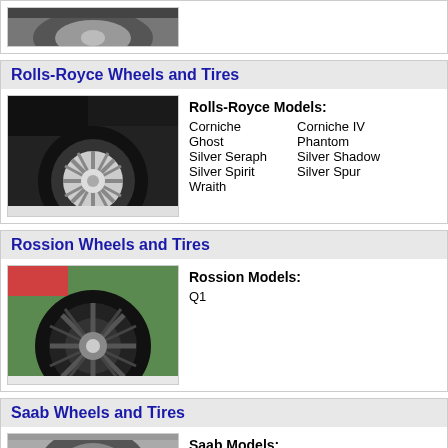[Figure (photo): Partial car wheel image at top of page (cropped)]
Rolls-Royce Wheels and Tires
[Figure (photo): Rolls-Royce wheel and tire close-up, black car, chrome spoke wheel]
Rolls-Royce Models: Corniche, Ghost, Silver Seraph, Silver Spirit, Wraith, Corniche IV, Phantom, Silver Shadow, Silver Spur
Rossion Wheels and Tires
[Figure (photo): Rossion Q1 wheel and tire, green car body, black multi-spoke wheel]
Rossion Models: Q1
Saab Wheels and Tires
[Figure (photo): Saab wheel and tire, partially visible at bottom of page]
Saab Models: